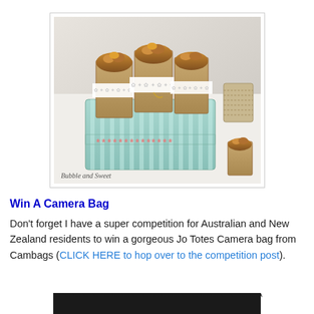[Figure (photo): A decorative blue-striped tin box containing small kraft paper bags filled with caramel popcorn or similar snack, tied with lace doilies. Watermark reads 'Bubble and Sweet'. A burlap/twine item is visible to the right.]
Win A Camera Bag
Don't forget I have a super competition for Australian and New Zealand residents to win a gorgeous Jo Totes Camera bag from Cambags (CLICK HERE to hop over to the competition post).
[Figure (photo): Bottom strip showing a decorative scalloped/zigzag dark border at the very bottom of the page.]